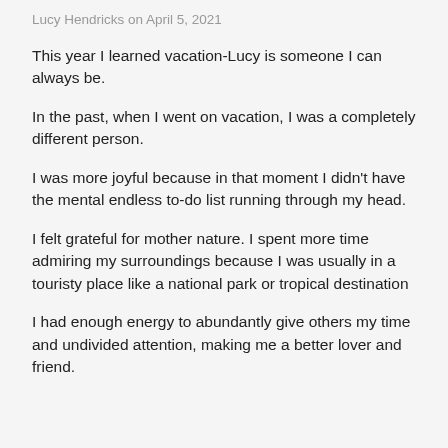Lucy Hendricks on April 5, 2021
This year I learned vacation-Lucy is someone I can always be.
In the past, when I went on vacation, I was a completely different person.
I was more joyful because in that moment I didn't have the mental endless to-do list running through my head.
I felt grateful for mother nature. I spent more time admiring my surroundings because I was usually in a touristy place like a national park or tropical destination
I had enough energy to abundantly give others my time and undivided attention, making me a better lover and friend.